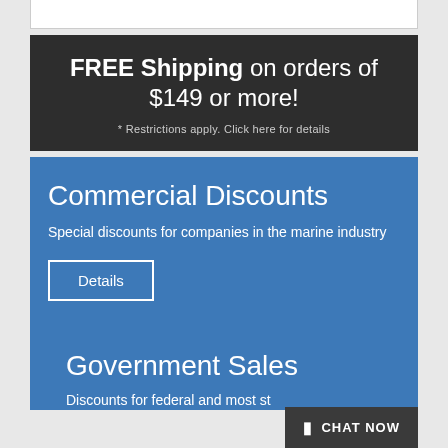FREE Shipping on orders of $149 or more!
* Restrictions apply. Click here for details
Commercial Discounts
Special discounts for companies in the marine industry
Details
Government Sales
Discounts for federal and most st
CHAT NOW